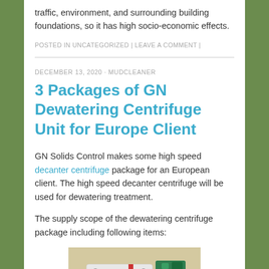traffic, environment, and surrounding building foundations, so it has high socio-economic effects.
POSTED IN UNCATEGORIZED | LEAVE A COMMENT |
DECEMBER 13, 2020 · MUDCLEANER
3 Packages of GN Dewatering Centrifuge Unit for Europe Client
GN Solids Control makes some high speed decanter centrifuge package for an European client. The high speed decanter centrifuge will be used for dewatering treatment.
The supply scope of the dewatering centrifuge package including following items:
[Figure (photo): Photo of GN dewatering centrifuge unit equipment in a warehouse setting]